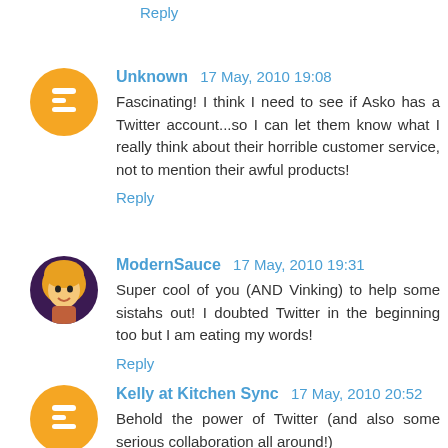Reply
Unknown 17 May, 2010 19:08
Fascinating! I think I need to see if Asko has a Twitter account...so I can let them know what I really think about their horrible customer service, not to mention their awful products!
Reply
ModernSauce 17 May, 2010 19:31
Super cool of you (AND Vinking) to help some sistahs out! I doubted Twitter in the beginning too but I am eating my words!
Reply
Kelly at Kitchen Sync 17 May, 2010 20:52
Behold the power of Twitter (and also some serious collaboration all around!)